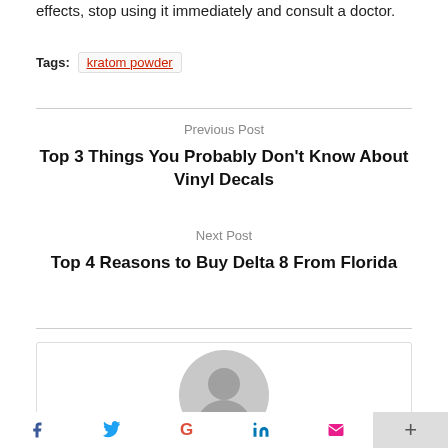effects, stop using it immediately and consult a doctor.
Tags: kratom powder
Previous Post
Top 3 Things You Probably Don't Know About Vinyl Decals
Next Post
Top 4 Reasons to Buy Delta 8 From Florida
[Figure (illustration): Author avatar placeholder - circular grey user silhouette icon]